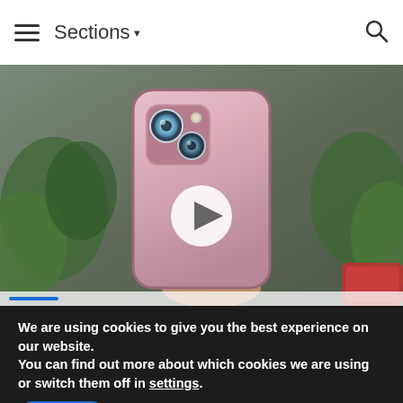≡ Sections ▾  🔍
[Figure (photo): A pink iPhone 13 mini held from the back showing the dual camera system, with a white play button circle overlaid in the center. Background shows plants and a red object. Video progress bar visible at bottom.]
We are using cookies to give you the best experience on our website.
You can find out more about which cookies we are using or switch them off in settings.
Accept